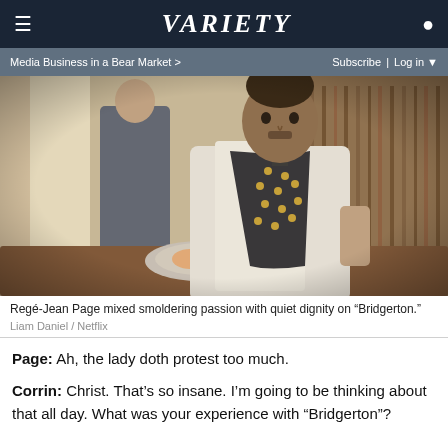VARIETY
Media Business in a Bear Market >   Subscribe | Log in
[Figure (photo): Regé-Jean Page in period costume (dark waistcoat with gold dots, white shirt) seated at a dining table with food, interior period setting with bookshelves and another figure in background]
Regé-Jean Page mixed smoldering passion with quiet dignity on “Bridgerton.”
Liam Daniel / Netflix
Page: Ah, the lady doth protest too much.
Corrin: Christ. That’s so insane. I’m going to be thinking about that all day. What was your experience with “Bridgerton”?